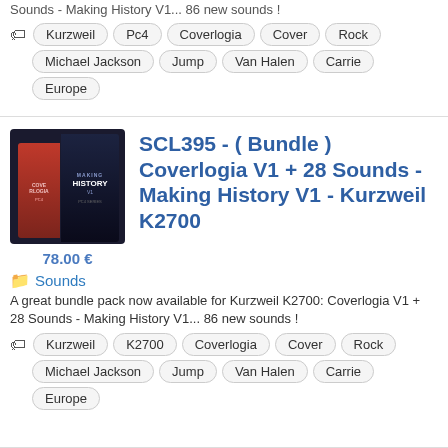Sounds - Making History V1... 86 new sounds !
Kurzweil, Pc4, Coverlogia, Cover, Rock, Michael Jackson, Jump, Van Halen, Carrie, Europe
[Figure (photo): Product box image showing two boxes - Coverlogia and Making History V1 for Kurzweil PC4 series]
78.00 €
SCL395 - ( Bundle ) Coverlogia V1 + 28 Sounds - Making History V1 - Kurzweil K2700
Sounds
A great bundle pack now available for Kurzweil K2700: Coverlogia V1 + 28 Sounds - Making History V1... 86 new sounds !
Kurzweil, K2700, Coverlogia, Cover, Rock, Michael Jackson, Jump, Van Halen, Carrie, Europe